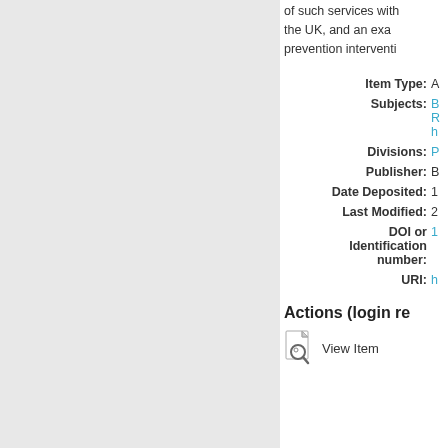of such services with the UK, and an exa prevention interventi
| Label | Value |
| --- | --- |
| Item Type: | A |
| Subjects: | B
R
h |
| Divisions: | P |
| Publisher: | B |
| Date Deposited: | 1 |
| Last Modified: | 2 |
| DOI or Identification number: | 1 |
| URI: | h |
Actions (login re
View Item